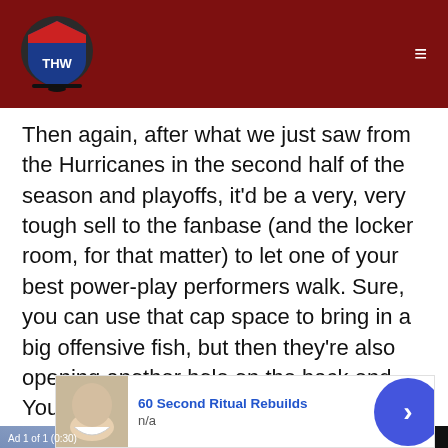THW - The Hockey Writers header with logo and navigation
Then again, after what we just saw from the Hurricanes in the second half of the season and playoffs, it'd be a very, very tough sell to the fanbase (and the locker room, for that matter) to let one of your best power-play performers walk. Sure, you can use that cap space to bring in a big offensive fish, but then they're also opening another hole on the back end. You have to have someone to quarterback your power
[Figure (screenshot): Video ad overlay showing 'KADRI TO CALGARY' with player lifting Stanley Cup trophy and a sports commentator. Up Next text reads 'Kadri to the Flames, Maybe Is Not That Great of a Move?']
[Figure (screenshot): Banner advertisement for '60 Second Ritual Rebuilds' with n/a subtitle and blue arrow button]